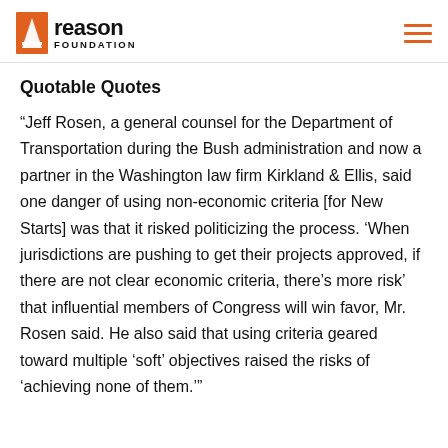reason FOUNDATION
Quotable Quotes
“Jeff Rosen, a general counsel for the Department of Transportation during the Bush administration and now a partner in the Washington law firm Kirkland & Ellis, said one danger of using non-economic criteria [for New Starts] was that it risked politicizing the process. ‘When jurisdictions are pushing to get their projects approved, if there are not clear economic criteria, there’s more risk’ that influential members of Congress will win favor, Mr. Rosen said. He also said that using criteria geared toward multiple ‘soft’ objectives raised the risks of ‘achieving none of them.’”